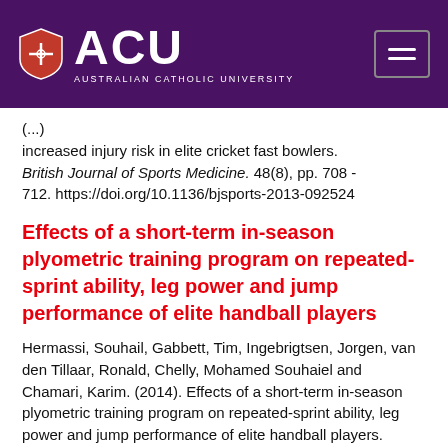ACU Australian Catholic University
(...) increased injury risk in elite cricket fast bowlers. British Journal of Sports Medicine. 48(8), pp. 708 - 712. https://doi.org/10.1136/bjsports-2013-092524
Effects of a short-term in-season plyometric training program on repeated-sprint ability, leg power and jump performance of elite handball players
Hermassi, Souhail, Gabbett, Tim, Ingebrigtsen, Jorgen, van den Tillaar, Ronald, Chelly, Mohamed Souhaiel and Chamari, Karim. (2014). Effects of a short-term in-season plyometric training program on repeated-sprint ability, leg power and jump performance of elite handball players. International